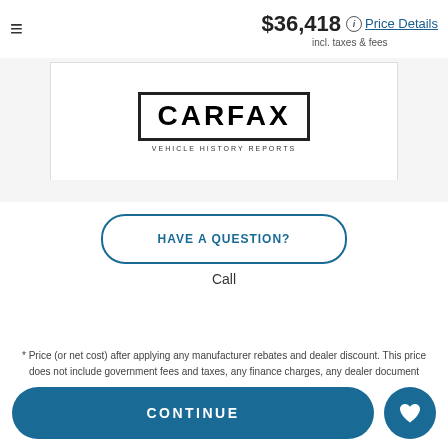$36,418 incl. taxes & fees Price Details
[Figure (logo): CARFAX Vehicle History Reports logo in bordered box]
HAVE A QUESTION?
Call
* Price (or net cost) after applying any manufacturer rebates and dealer discount. This price does not include government fees and taxes, any finance charges, any dealer document processing charge, any electronic filing charge
CONTINUE